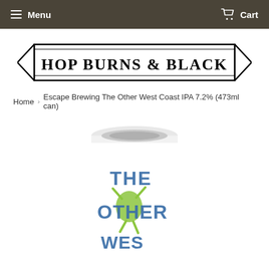Menu   Cart
[Figure (logo): Hop Burns & Black logo — banner ribbon shape with text HOP BURNS & BLACK in bold serif capital letters, black on white with arrow-shaped left and right ends]
Home › Escape Brewing The Other West Coast IPA 7.2% (473ml can)
[Figure (photo): White 473ml beer can with text THE OTHER WEST COAST IPA in blue denim-style lettering with green illustrated hops character, partially cropped at bottom]